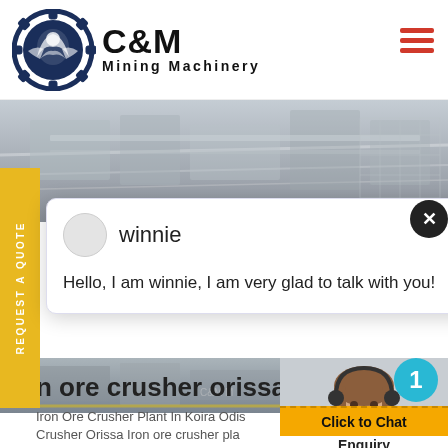[Figure (logo): C&M Mining Machinery logo with eagle/gear icon and company name]
[Figure (photo): Industrial mining machinery conveyor belt facility banner image]
REQUEST A QUOTE
[Figure (screenshot): Chat popup with avatar for winnie saying Hello, I am winnie, I am very glad to talk with you!]
[Figure (photo): Customer service agent photo with headset, teal badge showing 1]
n ore crusher orissa lo
Iron Ore Crusher Plant In Koira Odis
Crusher Orissa Iron ore crusher pla
odishahe company has iron ore de
Click to Chat
Enquiry